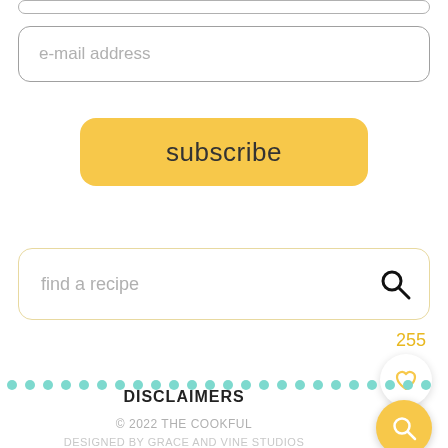e-mail address
subscribe
find a recipe
255
DISCLAIMERS
© 2022 THE COOKFUL
DESIGNED BY GRACE AND VINE STUDIOS